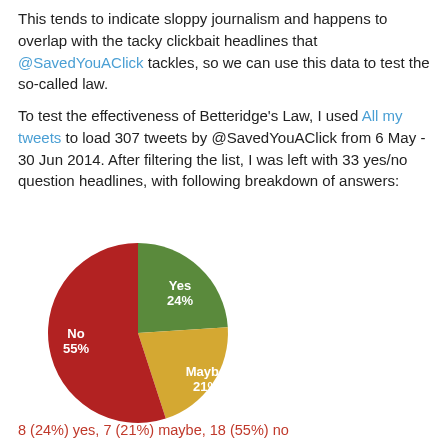This tends to indicate sloppy journalism and happens to overlap with the tacky clickbait headlines that @SavedYouAClick tackles, so we can use this data to test the so-called law.

To test the effectiveness of Betteridge's Law, I used All my tweets to load 307 tweets by @SavedYouAClick from 6 May - 30 Jun 2014. After filtering the list, I was left with 33 yes/no question headlines, with following breakdown of answers:
[Figure (pie-chart): ]
8 (24%) yes, 7 (21%) maybe, 18 (55%) no